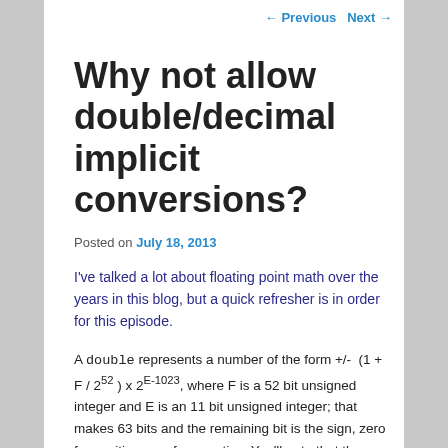← Previous   Next →
Why not allow double/decimal implicit conversions?
Posted on July 18, 2013
I've talked a lot about floating point math over the years in this blog, but a quick refresher is in order for this episode.
A double represents a number of the form +/- (1 + F / 2^52 ) x 2^E-1023, where F is a 52 bit unsigned integer and E is an 11 bit unsigned integer; that makes 63 bits and the remaining bit is the sign, zero for positive, one for negative. You'll note that there is no way to represent zero in this format, so by convention if E and F are both zero